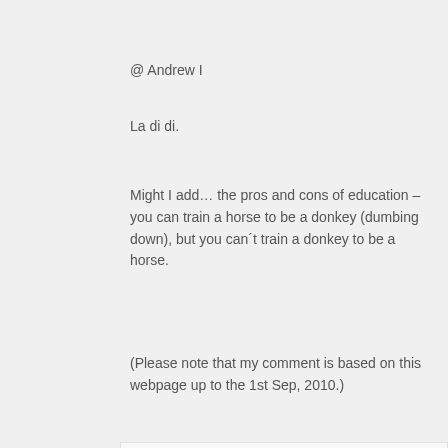@ Andrew I
La di di.
Might I add… the pros and cons of education – you can train a horse to be a donkey (dumbing down), but you can´t train a donkey to be a horse.
(Please note that my comment is based on this webpage up to the 1st Sep, 2010.)
Andrew I says
September 8, 2010 at 3:10 am